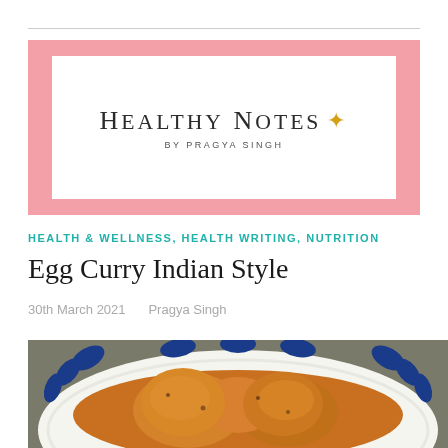[Figure (logo): Healthy Notes by Pragya Singh blog logo — white rectangle inside a pink border, with 'HEALTHY NOTES' in serif capitals and a gold star sparkle icon, subtitle 'BY PRAGYA SINGH' in small caps]
HEALTH & WELLNESS, HEALTH WRITING, NUTRITION
Egg Curry Indian Style
30th March 2021   Pragya Singh
[Figure (photo): Close-up photo of egg curry served on a blue-and-white decorative plate with leaf pattern. Orange-colored curry gravy coating boiled eggs visible in the foreground.]